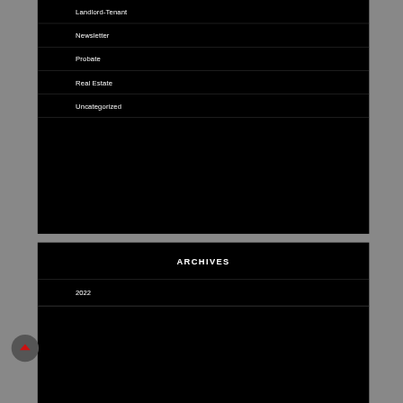Landlord-Tenant
Newsletter
Probate
Real Estate
Uncategorized
ARCHIVES
2022